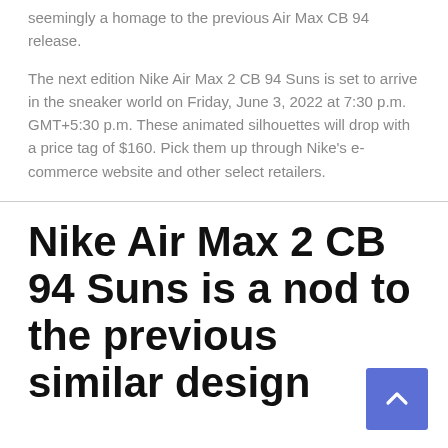seemingly a homage to the previous Air Max CB 94 release.
The next edition Nike Air Max 2 CB 94 Suns is set to arrive in the sneaker world on Friday, June 3, 2022 at 7:30 p.m. GMT+5:30 p.m. These animated silhouettes will drop with a price tag of $160. Pick them up through Nike's e-commerce website and other select retailers.
Nike Air Max 2 CB 94 Suns is a nod to the previous similar design